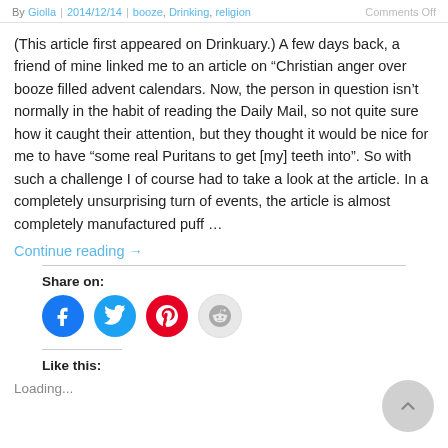By Giolla | 2014/12/14 | booze, Drinking, religion    Comments Off
(This article first appeared on Drinkuary.) A few days back, a friend of mine linked me to an article on “Christian anger over booze filled advent calendars. Now, the person in question isn’t normally in the habit of reading the Daily Mail, so not quite sure how it caught their attention, but they thought it would be nice for me to have “some real Puritans to get [my] teeth into”. So with such a challenge I of course had to take a look at the article. In a completely unsurprising turn of events, the article is almost completely manufactured puff …
Continue reading →
Share on:
[Figure (infographic): Social share buttons: Facebook (blue circle), Twitter (blue circle), Pinterest (red circle), Reddit (light grey circle)]
Like this:
Loading...